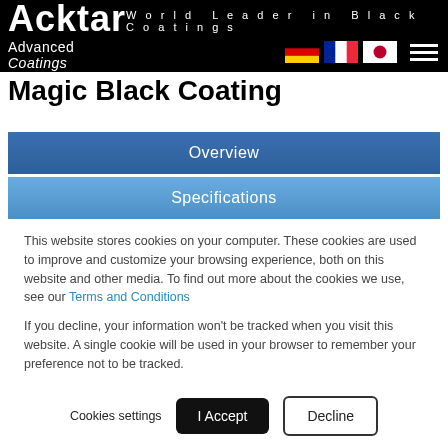Acktar — Advanced Coatings | World Leader in Black Coatings
Magic Black Coating
Overview
Specifications
This website stores cookies on your computer. These cookies are used to improve and customize your browsing experience, both on this website and other media. To find out more about the cookies we use, see our Terms and Conditions
If you decline, your information won't be tracked when you visit this website. A single cookie will be used in your browser to remember your preference not to be tracked.
Cookies settings  I Accept  Decline